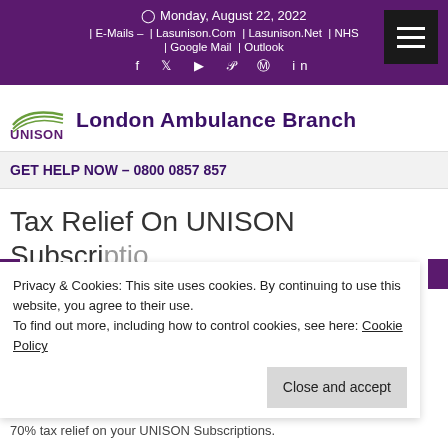Monday, August 22, 2022 | E-Mails – | Lasunison.Com | Lasunison.Net | NHS | Google Mail | Outlook
UNISON London Ambulance Branch
GET HELP NOW – 0800 0857 857
Tax Relief On UNISON Subscriptions
Privacy & Cookies: This site uses cookies. By continuing to use this website, you agree to their use.
To find out more, including how to control cookies, see here: Cookie Policy
70% tax relief on your UNISON Subscriptions.